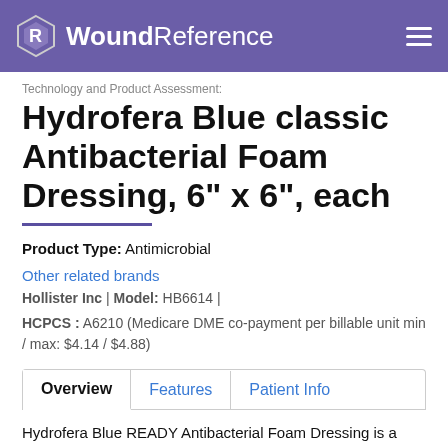WoundReference
Technology and Product Assessment:
Hydrofera Blue classic Antibacterial Foam Dressing, 6" x 6", each
Product Type: Antimicrobial
Other related brands
Hollister Inc | Model: HB6614 |
HCPCS : A6210 (Medicare DME co-payment per billable unit min / max: $4.14 / $4.88)
Overview | Features | Patient Info
Hydrofera Blue READY Antibacterial Foam Dressing is a foam dressing...